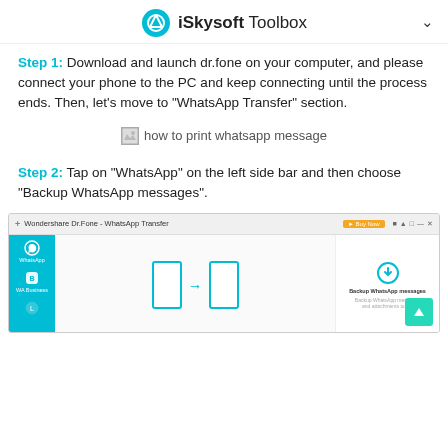iSkysoft Toolbox
Step 1: Download and launch dr.fone on your computer, and please connect your phone to the PC and keep connecting until the process ends. Then, let's move to "WhatsApp Transfer" section.
[Figure (screenshot): Broken image placeholder with alt text: how to print whatsapp message]
Step 2: Tap on "WhatsApp" on the left side bar and then choose "Backup WhatsApp messages".
[Figure (screenshot): Screenshot of Wondershare Dr.Fone WhatsApp Transfer application showing sidebar with WhatsApp and WA Business options, main area with phone transfer icons, and right panel showing Backup WhatsApp Messages option with a teal FAB button]